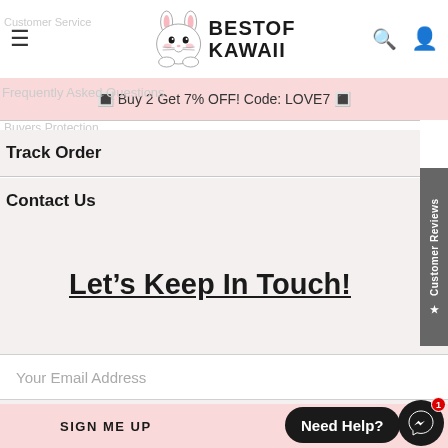BESTOF KAWAII
🔳 Buy 2 Get 7% OFF! Code: LOVE7 🔳
Track Order
Contact Us
Let's Keep In Touch!
Your Email Address
SIGN ME UP
Need Help?
★ Customer Reviews